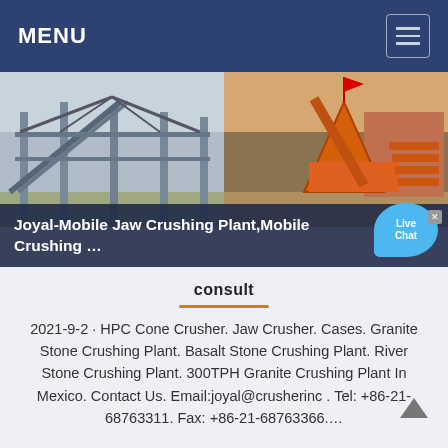MENU
[Figure (photo): Two industrial crushing/screening plant photos side by side: left shows steel structure framework, right shows orange-colored crushing equipment.]
Joyal-Mobile Jaw Crushing Plant,Mobile Crushing ...
consult
2021-9-2 · HPC Cone Crusher. Jaw Crusher. Cases. Granite Stone Crushing Plant. Basalt Stone Crushing Plant. River Stone Crushing Plant. 300TPH Granite Crushing Plant In Mexico. Contact Us. Email:joyal@crusherinc . Tel: +86-21-68763311. Fax: +86-21-68763366....